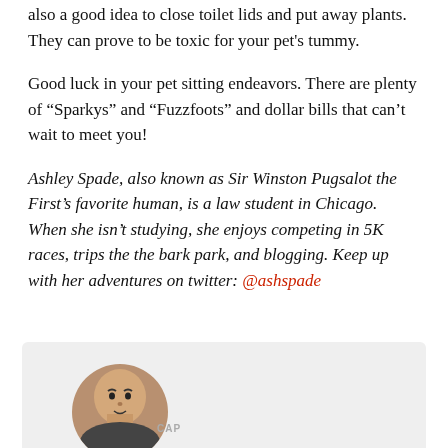also a good idea to close toilet lids and put away plants. They can prove to be toxic for your pet's tummy.
Good luck in your pet sitting endeavors. There are plenty of “Sparkys” and “Fuzzfoots” and dollar bills that can’t wait to meet you!
Ashley Spade, also known as Sir Winston Pugsalot the First’s favorite human, is a law student in Chicago. When she isn’t studying, she enjoys competing in 5K races, trips the the bark park, and blogging. Keep up with her adventures on twitter: @ashspade
[Figure (photo): Circular avatar photo of a man, partially cropped, with a grey background card at the bottom of the page. A 'CAP' watermark label is visible.]